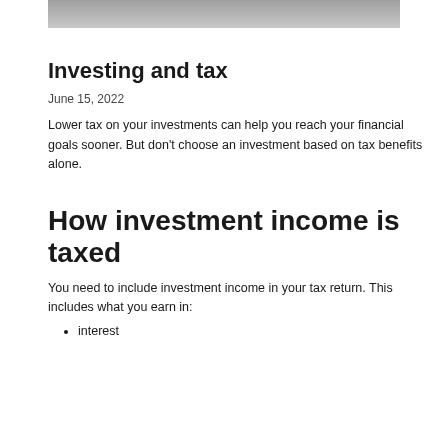[Figure (photo): Partial photo strip at the top of the page, showing a blurred or cropped image of people]
Investing and tax
June 15, 2022
Lower tax on your investments can help you reach your financial goals sooner. But don't choose an investment based on tax benefits alone.
How investment income is taxed
You need to include investment income in your tax return. This includes what you earn in:
interest